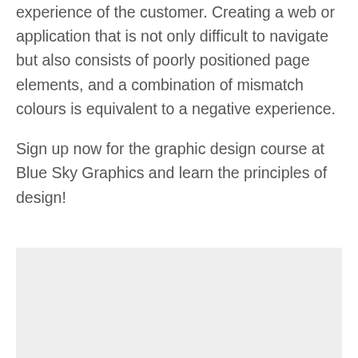experience of the customer. Creating a web or application that is not only difficult to navigate but also consists of poorly positioned page elements, and a combination of mismatch colours is equivalent to a negative experience.
Sign up now for the graphic design course at Blue Sky Graphics and learn the principles of design!
[Figure (other): Light gray rectangular image placeholder at the bottom of the page]